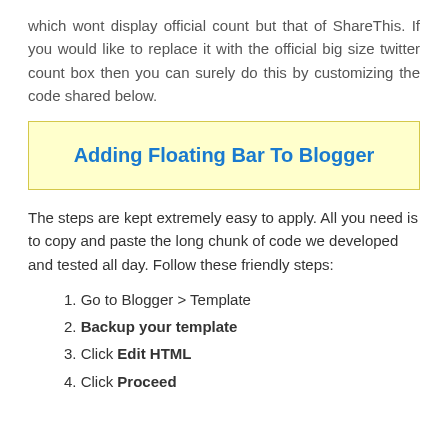which wont display official count but that of ShareThis. If you would like to replace it with the official big size twitter count box then you can surely do this by customizing the code shared below.
Adding Floating Bar To Blogger
The steps are kept extremely easy to apply. All you need is to copy and paste the long chunk of code we developed and tested all day. Follow these friendly steps:
1. Go to Blogger > Template
2. Backup your template
3. Click Edit HTML
4. Click Proceed